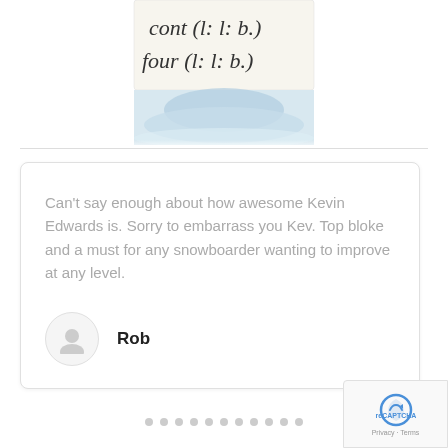[Figure (illustration): Partial view of a snowboarding instructional book/DVD cover showing handwritten text 'cont (l: l: b:)' and 'four (l: l: b:)' on what appears to be sticky notes, with a snowy mountain scene below.]
Can't say enough about how awesome Kevin Edwards is. Sorry to embarrass you Kev. Top bloke and a must for any snowboarder wanting to improve at any level.
Rob
[Figure (other): Pagination dots row — 11 gray dots indicating multiple slides in a carousel.]
[Figure (logo): reCAPTCHA badge in bottom right corner showing Google reCAPTCHA logo and Privacy · Terms text.]